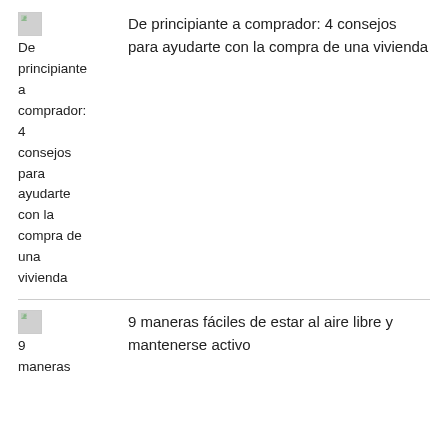De principiante a comprador: 4 consejos para ayudarte con la compra de una vivienda
9 maneras fáciles de estar al aire libre y mantenerse activo